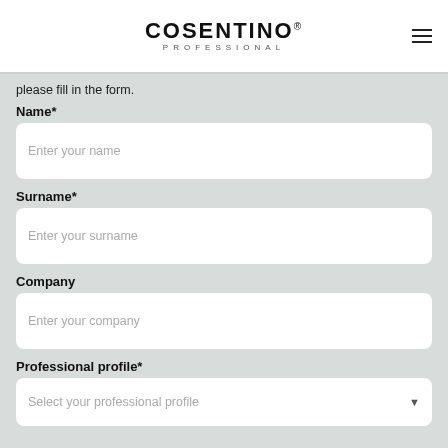COSENTINO PROFESSIONAL
please fill in the form.
Name*
Enter your name
Surname*
Enter your surname
Company
Enter your company
Professional profile*
Select your professional profile